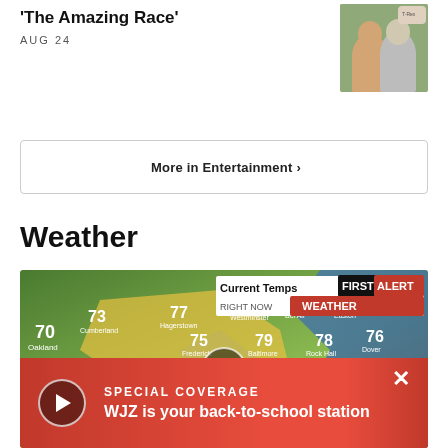'The Amazing Race'
AUG 24
[Figure (photo): Two people posing together outdoors, one wearing a dinosaur t-shirt]
More in Entertainment ›
Weather
[Figure (screenshot): Weather map showing Current Temps RIGHT NOW with FIRST ALERT WEATHER branding. Shows temperatures across Mid-Atlantic region: Oakland 70, Cumberland 73, Hagerstown 77, Westminster 76, Bel Air 76, Easton 77, Frederick 75, Baltimore 79, Rock Hall 78, Dover 76, Front Royal 75, Annapolis 78, Easton 74, Rehoboth Beach 77, Harrisonburg area, La Hale 78, Cambridge 73. Play button overlay. Bottom red banner: SPECIAL COVERAGE - WJZ is your back-to-school station]